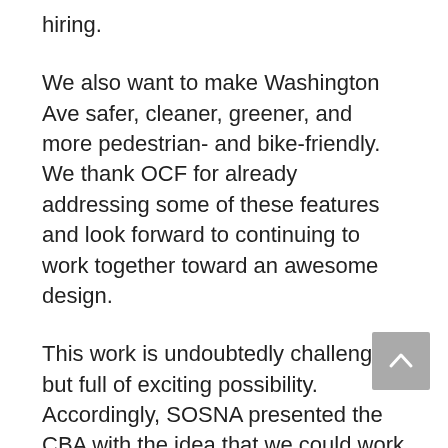hiring.
We also want to make Washington Ave safer, cleaner, greener, and more pedestrian- and bike-friendly. We thank OCF for already addressing some of these features and look forward to continuing to work together toward an awesome design.
This work is undoubtedly challenging but full of exciting possibility. Accordingly, SOSNA presented the CBA with the idea that we could work with OCF, our elected officials, our business and nonprofit partners, and our residents to find creative ways to brings to life a great project that is designed for all our residents. We